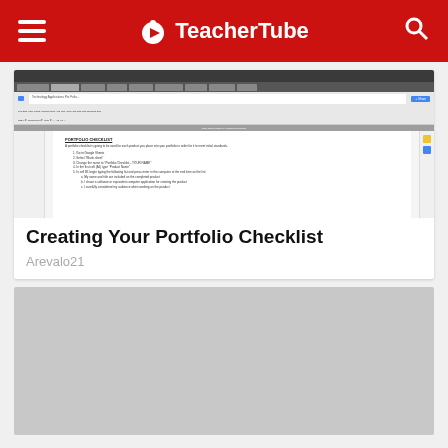TeacherTube
[Figure (screenshot): Screenshot of a Google Docs document titled 'Technology Applications Portfolio' showing a 'PORTFOLIO CHECKLIST' document with numbered steps for creating a portfolio checklist in Google Sheets.]
Creating Your Portfolio Checklist
Arevalo21
[Figure (photo): Gray placeholder image for a second video or content card.]